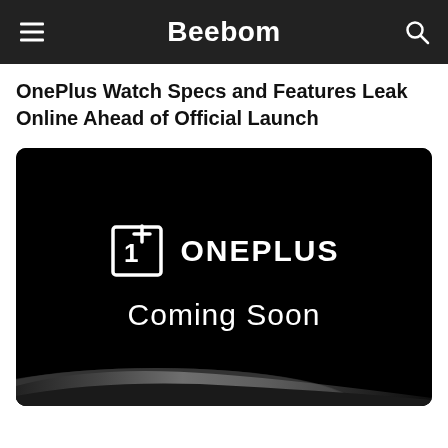Beebom
OnePlus Watch Specs and Features Leak Online Ahead of Official Launch
[Figure (photo): OnePlus promotional teaser image on black background showing the OnePlus logo and 'Coming Soon' text, with a metallic wave or product silhouette visible at the bottom.]